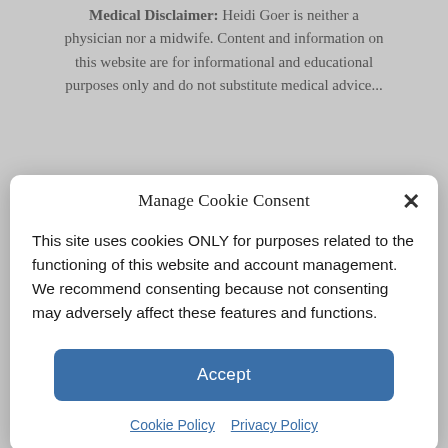Medical Disclaimer: Heidi Goer is neither a physician nor a midwife. Content and information on this website are for informational and educational purposes only...
Manage Cookie Consent
This site uses cookies ONLY for purposes related to the functioning of this website and account management. We recommend consenting because not consenting may adversely affect these features and functions.
Accept
Cookie Policy  Privacy Policy